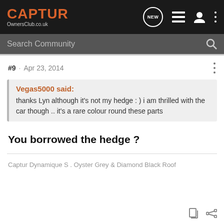CAPTUR OwnersClub.co.uk
Search Community
#9 · Apr 23, 2014
Vegas5000 said: thanks Lyn although it's not my hedge : ) i am thrilled with the car though .. it's a rare colour round these parts
You borrowed the hedge ?
Captur Dynamique S . Oyster Grey & Diamond Black Roof